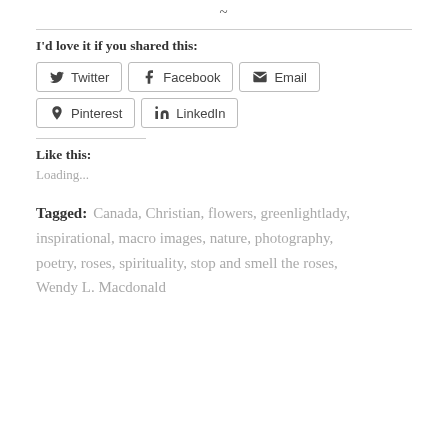~
I'd love it if you shared this:
Twitter  Facebook  Email  Pinterest  LinkedIn
Like this:
Loading...
Tagged: Canada, Christian, flowers, greenlightlady, inspirational, macro images, nature, photography, poetry, roses, spirituality, stop and smell the roses, Wendy L. Macdonald